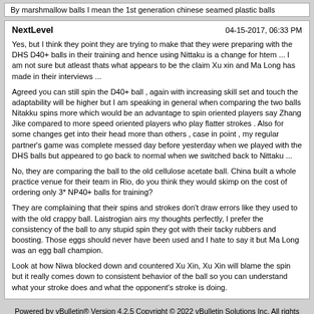By marshmallow balls I mean the 1st generation chinese seamed plastic balls
NextLevel
04-15-2017, 06:33 PM
Yes, but I think they point they are trying to make that they were preparing with the DHS D40+ balls in their training and hence using Nittaku is a change for htem ... I am not sure but atleast thats what appears to be the claim Xu xin and Ma Long has made in their interviews ...
Agreed you can still spin the D40+ ball , again with increasing skill set and touch the adaptability will be higher but I am speaking in general when comparing the two balls Nitakku spins more which would be an advantage to spin oriented players say Zhang Jike compared to more speed oriented players who play flatter strokes . Also for some changes get into their head more than others , case in point , my regular partner's game was complete messed day before yesterday when we played with the DHS balls but appeared to go back to normal when we switched back to Nittaku ...
No, they are comparing the ball to the old cellulose acetate ball. China built a whole practice venue for their team in Rio, do you think they would skimp on the cost of ordering only 3* NP40+ balls for training?
They are complaining that their spins and strokes don't draw errors like they used to with the old crappy ball. Laistrogian airs my thoughts perfectly, I prefer the consistency of the ball to any stupid spin they got with their tacky rubbers and boosting. Those eggs should never have been used and I hate to say it but Ma Long was an egg ball champion.
Look at how Niwa blocked down and countered Xu Xin, Xu Xin will blame the spin but it really comes down to consistent behavior of the ball so you can understand what your stroke does and what the opponent's stroke is doing.
Powered by vBulletin® Version 4.2.5 Copyright © 2022 vBulletin Solutions Inc. All rights reserved.